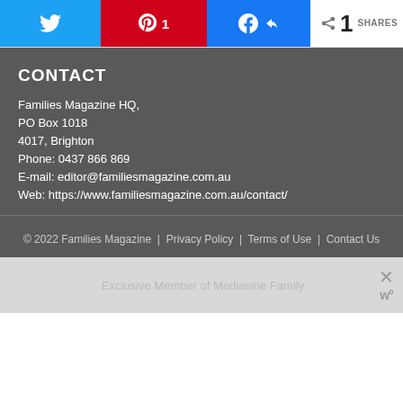[Figure (infographic): Social share buttons: Twitter bird icon button (blue), Pinterest 'p' icon with count '1' (red), Facebook 'f' icon button (blue), and share count showing '1 SHARES']
CONTACT
Families Magazine HQ,
PO Box 1018
4017, Brighton
Phone: 0437 866 869
E-mail: editor@familiesmagazine.com.au
Web: https://www.familiesmagazine.com.au/contact/
© 2022 Families Magazine  |  Privacy Policy  |  Terms of Use  |  Contact Us
Exclusive Member of Mediavine Family